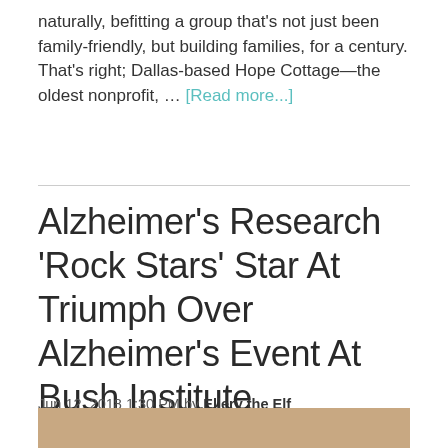naturally, befitting a group that's not just been family-friendly, but building families, for a century. That's right; Dallas-based Hope Cottage—the oldest nonprofit, … [Read more...]
Alzheimer's Research 'Rock Stars' Star At Triumph Over Alzheimer's Event At Bush Institute
Jun 12, 2018 1:30 PM by Ellery the Elf
[Figure (photo): Photo strip showing people at the event, partially visible at bottom of page]